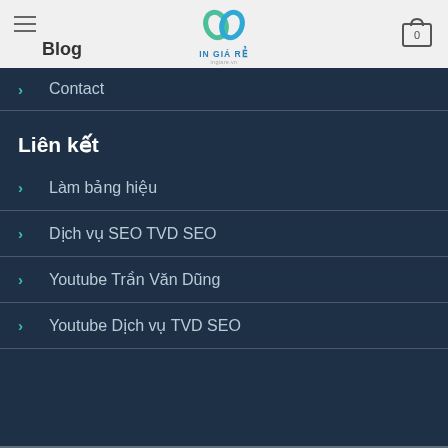Blog | IN GIÁ RẺ
Contact
Liên kết
Làm bảng hiệu
Dịch vụ SEO TVD SEO
Youtube Trần Văn Dũng
Youtube Dịch vụ TVD SEO